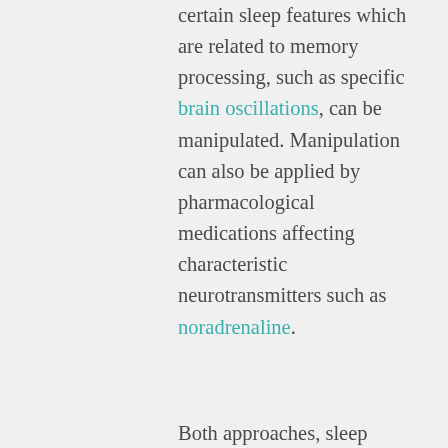certain sleep features which are related to memory processing, such as specific brain oscillations, can be manipulated. Manipulation can also be applied by pharmacological medications affecting characteristic neurotransmitters such as noradrenaline.
Both approaches, sleep itself and manipulation of memory, result in a decrease of forgetting and an increase in memory stability and therefore an overall enhancement of memory. However, procedural (resulting from one's behavior) and declarative (verbally describable) learning while sleeping appears to be impossible. On the other hand new knowledge can be acquired during sleep by generalizing, integrating and